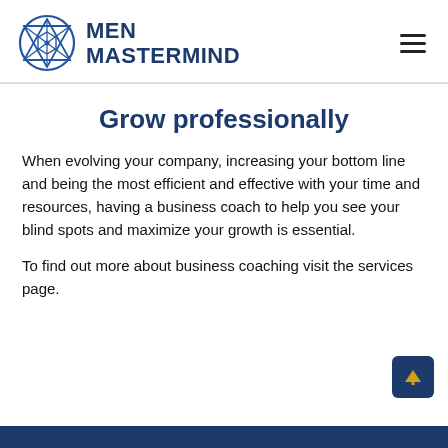[Figure (logo): Men Mastermind logo with geometric star/circle SVG icon and bold blue text MEN MASTERMIND]
Grow professionally
When evolving your company, increasing your bottom line and being the most efficient and effective with your time and resources, having a business coach to help you see your blind spots and maximize your growth is essential.
To find out more about business coaching visit the services page.